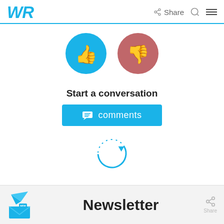WR  Share
[Figure (illustration): Two circular buttons: a blue thumbs-up icon and a red/rose thumbs-down icon]
Start a conversation
[Figure (illustration): Blue comments button with chat icon and text 'comments']
[Figure (illustration): Loading spinner circle (blue dotted arc with arrow)]
[Figure (illustration): Newsletter section with envelope icon, 'Newsletter' title, and Share icon]